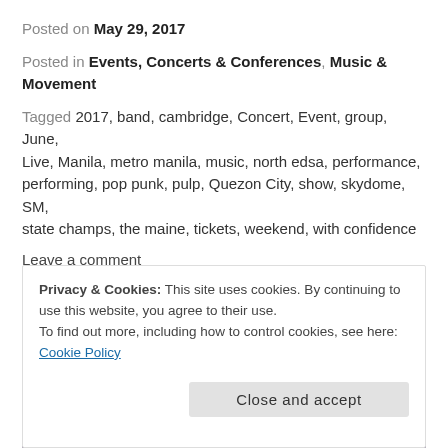Posted on May 29, 2017
Posted in Events, Concerts & Conferences, Music & Movement
Tagged 2017, band, cambridge, Concert, Event, group, June, Live, Manila, metro manila, music, north edsa, performance, performing, pop punk, pulp, Quezon City, show, skydome, SM, state champs, the maine, tickets, weekend, with confidence
Leave a comment
[Figure (photo): Bazooka Rocks presents A Pop Punk event banner with planet earth and alien/UFO graphics on purple swirling background]
Privacy & Cookies: This site uses cookies. By continuing to use this website, you agree to their use.
To find out more, including how to control cookies, see here: Cookie Policy
Close and accept